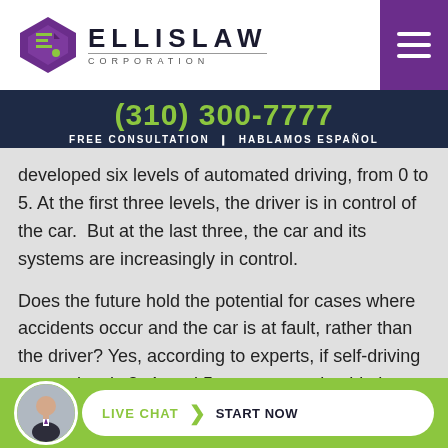[Figure (logo): Ellis Law Corporation logo with purple diamond/shield icon and bold ELLISLAW text with CORPORATION below]
(310) 300-7777
FREE CONSULTATION · HABLAMOS ESPAÑOL
developed six levels of automated driving, from 0 to 5. At the first three levels, the driver is in control of the car.  But at the last three, the car and its systems are increasingly in control.
Does the future hold the potential for cases where accidents occur and the car is at fault, rather than the driver? Yes, according to experts, if self-driving cars at levels 3, 4, and 5 are approved to hit the
[Figure (photo): Circular avatar photo of a man in a suit]
LIVE CHAT  ❯  START NOW